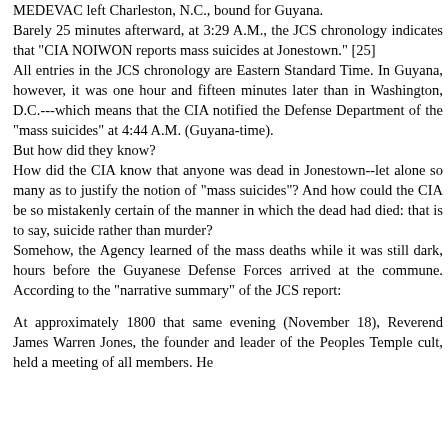MEDEVAC left Charleston, N.C., bound for Guyana. Barely 25 minutes afterward, at 3:29 A.M., the JCS chronology indicates that "CIA NOIWON reports mass suicides at Jonestown." [25] All entries in the JCS chronology are Eastern Standard Time. In Guyana, however, it was one hour and fifteen minutes later than in Washington, D.C.---which means that the CIA notified the Defense Department of the "mass suicides" at 4:44 A.M. (Guyana-time). But how did they know? How did the CIA know that anyone was dead in Jonestown--let alone so many as to justify the notion of "mass suicides"? And how could the CIA be so mistakenly certain of the manner in which the dead had died: that is to say, suicide rather than murder? Somehow, the Agency learned of the mass deaths while it was still dark, hours before the Guyanese Defense Forces arrived at the commune. According to the "narrative summary" of the JCS report:
At approximately 1800 that same evening (November 18), Reverend James Warren Jones, the founder and leader of the Peoples Temple cult, held a meeting of all members. He